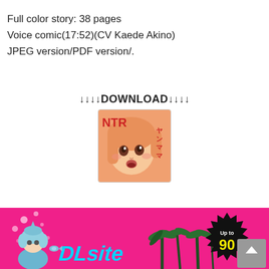Full color story: 38 pages
Voice comic(17:52)(CV Kaede Akino)
JPEG version/PDF version/.
↓↓↓↓DOWNLOAD↓↓↓↓
[Figure (illustration): Manga cover thumbnail showing anime girl with text 'NTR ヤンママ']
[Figure (infographic): Pink advertisement banner with anime character, palm trees, 'Up to 90%' discount badge, and 'DLsite' text]